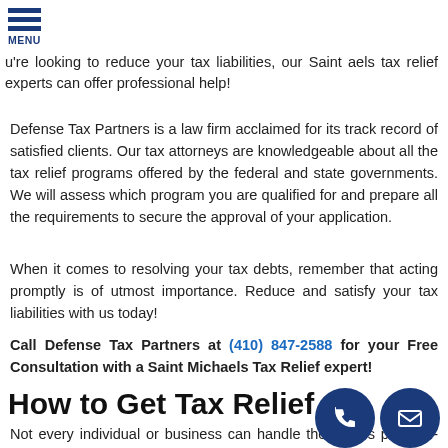u're looking to reduce your tax liabilities, our Saint aels tax relief experts can offer professional help! MENU
Defense Tax Partners is a law firm acclaimed for its track record of satisfied clients. Our tax attorneys are knowledgeable about all the tax relief programs offered by the federal and state governments. We will assess which program you are qualified for and prepare all the requirements to secure the approval of your application.
When it comes to resolving your tax debts, remember that acting promptly is of utmost importance. Reduce and satisfy your tax liabilities with us today!
Call Defense Tax Partners at (410) 847-2588 for your Free Consultation with a Saint Michaels Tax Relief expert!
How to Get Tax Relief
Not every individual or business can handle their taxes problem-free. Others may have encountered mishaps